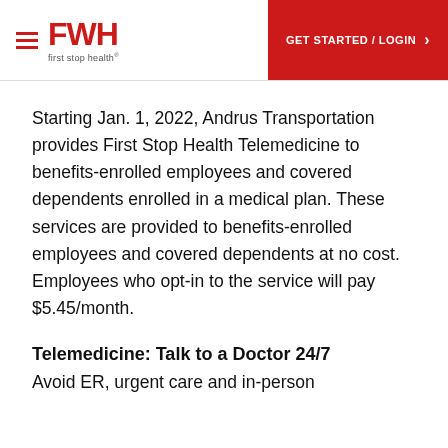FWH first stop health | GET STARTED / LOGIN
Starting Jan. 1, 2022, Andrus Transportation provides First Stop Health Telemedicine to benefits-enrolled employees and covered dependents enrolled in a medical plan. These services are provided to benefits-enrolled employees and covered dependents at no cost. Employees who opt-in to the service will pay $5.45/month.
Telemedicine: Talk to a Doctor 24/7
Avoid ER, urgent care and in-person